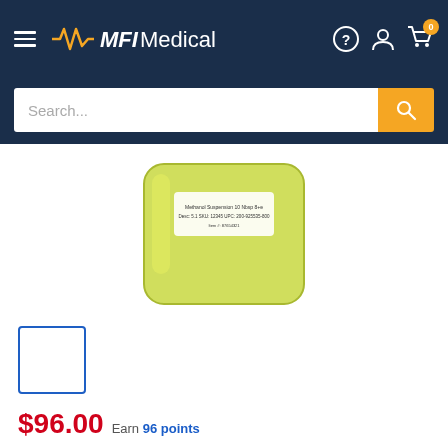MFI Medical
[Figure (screenshot): MFI Medical website e-commerce page showing a yellow-green plastic container product, with search bar, navigation icons, product thumbnail, price of $96.00, earn 96 points, and quantity selector.]
$96.00  Earn 96 points
Quantity: 1
Free Delivery  Over $1 to Over 18th